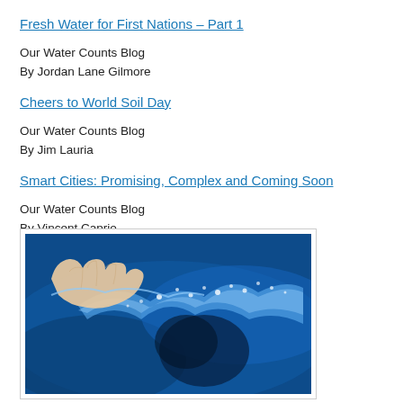Fresh Water for First Nations – Part 1
Our Water Counts Blog
By Jordan Lane Gilmore
Cheers to World Soil Day
Our Water Counts Blog
By Jim Lauria
Smart Cities: Promising, Complex and Coming Soon
Our Water Counts Blog
By Vincent Caprio
[Figure (photo): A hand touching the surface of deep blue swirling water with white water splashes.]